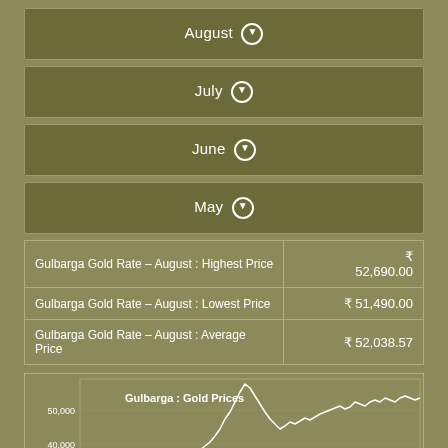August ↓
July ↓
June ↓
May ↓
|  |  |
| --- | --- |
| Gulbarga Gold Rate - August : Highest Price | ₹ 52,690.00 |
| Gulbarga Gold Rate - August : Lowest Price | ₹ 51,490.00 |
| Gulbarga Gold Rate - August : Average Price | ₹ 52,038.57 |
[Figure (line-chart): Line chart showing Gulbarga gold prices over time. Y-axis shows values around 40,000 to 50,000+. White line shows price trend rising from lower left to upper right with a prominent peak and subsequent fluctuations.]